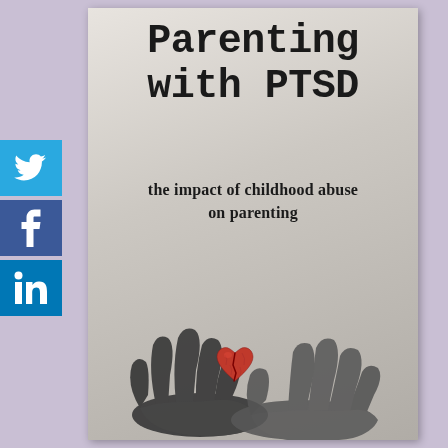Parenting with PTSD
the impact of childhood abuse on parenting
[Figure (illustration): Two pairs of hands (one adult, one child) cupping a red broken heart-shaped object, in black and white photography with the heart in color. Social media share buttons (Twitter, Facebook, LinkedIn) on the left side.]